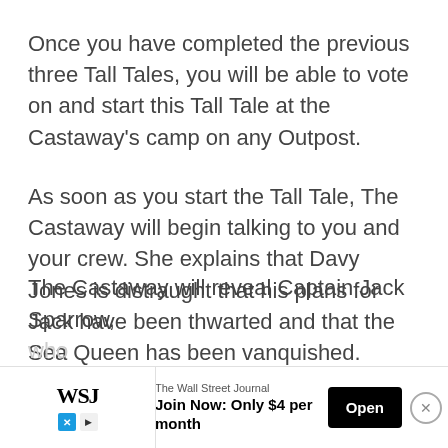Once you have completed the previous three Tall Tales, you will be able to vote on and start this Tall Tale at the Castaway's camp on any Outpost.
As soon as you start the Tall Tale, The Castaway will begin talking to you and your crew. She explains that Davy Jones is distraught that his plans for Jack have been thwarted and that the Sea Queen has been vanquished.
The Castaway will reveal Captain Jack Sparrow, who ...
[Figure (other): Advertisement banner for The Wall Street Journal. Shows WSJ logo, 'Join Now: Only $4 per month' text, an 'Open' button, and a close (X) button.]